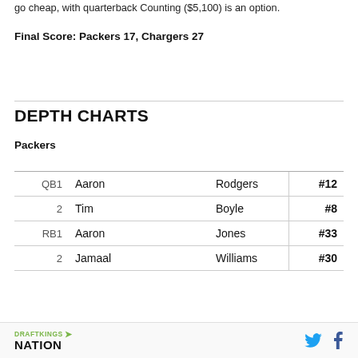go cheap, with quarterback Counting ($5,100) is an option.
Final Score: Packers 17, Chargers 27
DEPTH CHARTS
Packers
| Pos | First | Last | Number |
| --- | --- | --- | --- |
| QB1 | Aaron | Rodgers | #12 |
| 2 | Tim | Boyle | #8 |
| RB1 | Aaron | Jones | #33 |
| 2 | Jamaal | Williams | #30 |
DRAFTKINGS NATION